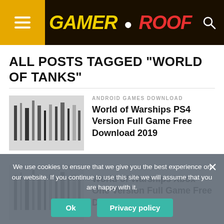GAMER ROOF
ALL POSTS TAGGED "WORLD OF TANKS"
ANDROID GAMES DOWNLOAD
World of Warships PS4 Version Full Game Free Download 2019
XBOX ONE GAMES DOWNLOAD
World of Warships Xbox One Version Full Game Free Download 2019
PC GAMES DOWNLOAD
World of Warships PC Version Full Game Free Download
We use cookies to ensure that we give you the best experience on our website. If you continue to use this site we will assume that you are happy with it.